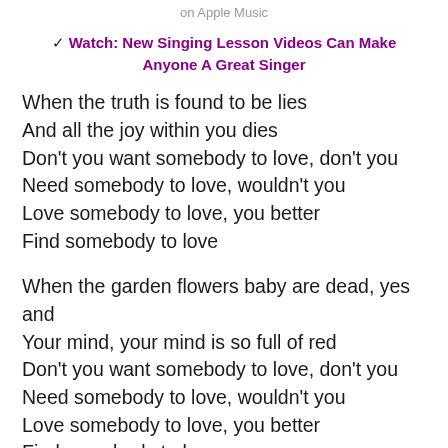on Apple Music
✓ Watch: New Singing Lesson Videos Can Make Anyone A Great Singer
When the truth is found to be lies
And all the joy within you dies
Don't you want somebody to love, don't you
Need somebody to love, wouldn't you
Love somebody to love, you better
Find somebody to love
When the garden flowers baby are dead, yes and
Your mind, your mind is so full of red
Don't you want somebody to love, don't you
Need somebody to love, wouldn't you
Love somebody to love, you better
Find somebody to love